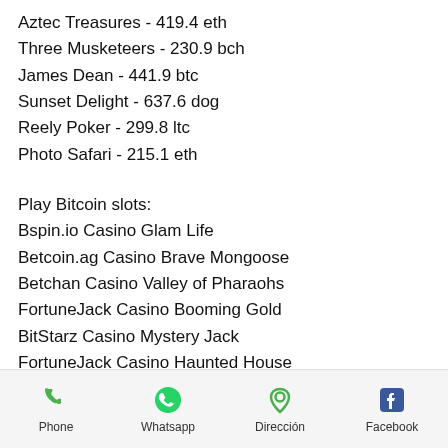Aztec Treasures - 419.4 eth
Three Musketeers - 230.9 bch
James Dean - 441.9 btc
Sunset Delight - 637.6 dog
Reely Poker - 299.8 ltc
Photo Safari - 215.1 eth
Play Bitcoin slots:
Bspin.io Casino Glam Life
Betcoin.ag Casino Brave Mongoose
Betchan Casino Valley of Pharaohs
FortuneJack Casino Booming Gold
BitStarz Casino Mystery Jack
FortuneJack Casino Haunted House
Betchan Casino Hot Gems
Syndicate Casino Diamonds Downunder
Bitcasino.io Travel Bug
Mars Casino Cat In Vegas
Phone  Whatsapp  Dirección  Facebook